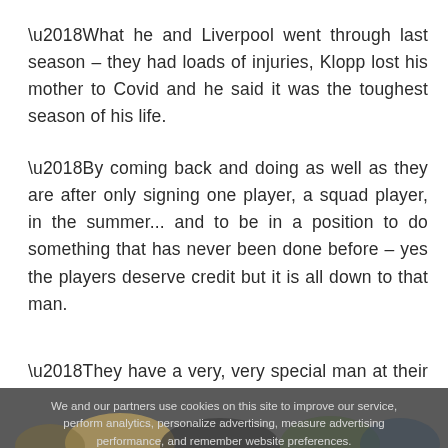‘What he and Liverpool went through last season – they had loads of injuries, Klopp lost his mother to Covid and he said it was the toughest season of his life.
‘By coming back and doing as well as they are after only signing one player, a squad player, in the summer... and to be in a position to do something that has never been done before – yes the players deserve credit but it is all down to that man.
‘They have a very, very special man at their club.’
We and our partners use cookies on this site to improve our service, perform analytics, personalize advertising, measure advertising performance, and remember website preferences.
[Figure (photo): Dark overlay with a photo of a man (Jurgen Klopp) smiling and celebrating, partially visible at the bottom of the page]